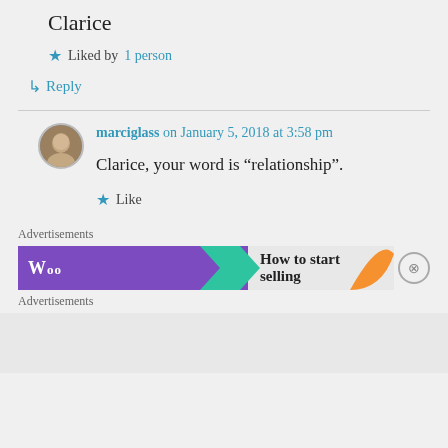Clarice
★ Liked by 1 person
↳ Reply
marciglass on January 5, 2018 at 3:58 pm
Clarice, your word is “relationship”.
★ Like
Advertisements
[Figure (screenshot): Advertisement banner with purple background, green arrow, text 'How to start selling', orange leaf graphic, and close button]
Advertisements